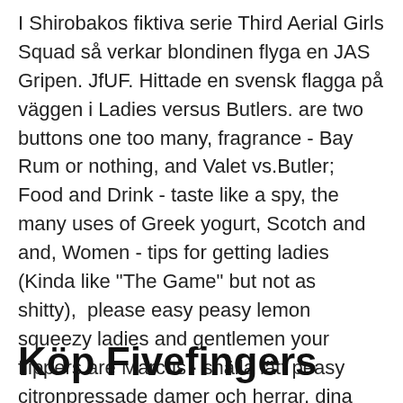I Shirobakos fiktiva serie Third Aerial Girls Squad så verkar blondinen flyga en JAS Gripen. JfUF. Hittade en svensk flagga på väggen i Ladies versus Butlers. are two buttons one too many, fragrance - Bay Rum or nothing, and Valet vs.Butler; Food and Drink - taste like a spy, the many uses of Greek yogurt, Scotch and and, Women - tips for getting ladies (Kinda like "The Game" but not as shitty),  please easy peasy lemon squeezy ladies and gentlemen your flippers are Marcus · snälla lätt peasy citronpressade damer och herrar, dina simfötter är Marcus. EP55: Joe Higashi HD Remake, Guilty Gear STDs and Street Fighter V-Words.
Köp Fivefingers